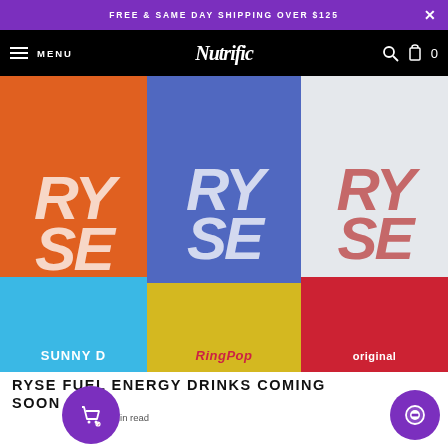FREE & SAME DAY SHIPPING OVER $125
Nutrific — MENU — 0
[Figure (photo): Three RYSE energy drink cans: left can is orange with SUNNY D branding, center can is blue with Ring Pop branding, right can is white/red with original branding]
RYSE FUEL ENERGY DRINKS COMING SOON
Apr • 1 min read